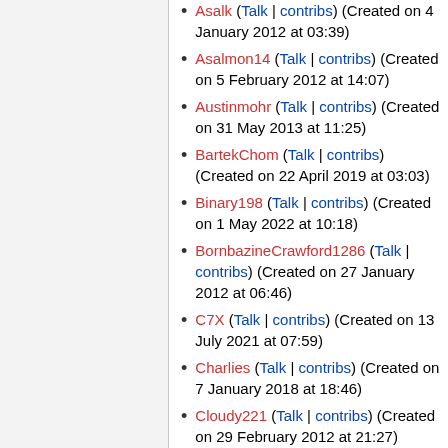Asalk (Talk | contribs) (Created on 4 January 2012 at 03:39)
Asalmon14 (Talk | contribs) (Created on 5 February 2012 at 14:07)
Austinmohr (Talk | contribs) (Created on 31 May 2013 at 11:25)
BartekChom (Talk | contribs) (Created on 22 April 2019 at 03:03)
Binary198 (Talk | contribs) (Created on 1 May 2022 at 10:18)
BornbazineCrawford1286 (Talk | contribs) (Created on 27 January 2012 at 06:46)
C7X (Talk | contribs) (Created on 13 July 2021 at 07:59)
Charlies (Talk | contribs) (Created on 7 January 2018 at 18:46)
Cloudy221 (Talk | contribs) (Created on 29 February 2012 at 21:27)
Dan Saattrup Nielsen (Talk | contribs) (Created on 22 January 2017 at